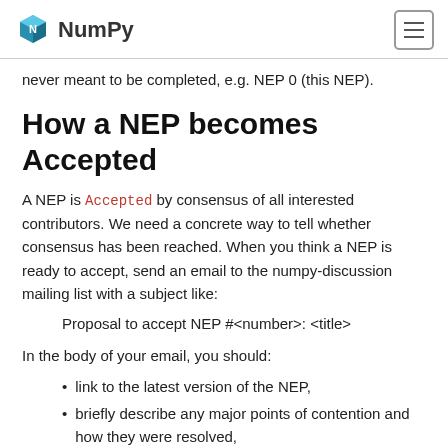NumPy
never meant to be completed, e.g. NEP 0 (this NEP).
How a NEP becomes Accepted
A NEP is Accepted by consensus of all interested contributors. We need a concrete way to tell whether consensus has been reached. When you think a NEP is ready to accept, send an email to the numpy-discussion mailing list with a subject like:
Proposal to accept NEP #<number>: <title>
In the body of your email, you should:
link to the latest version of the NEP,
briefly describe any major points of contention and how they were resolved,